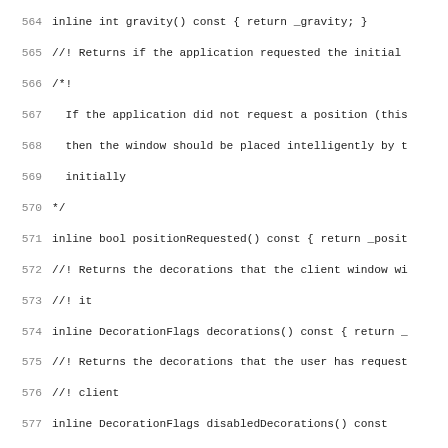Source code listing lines 564-595